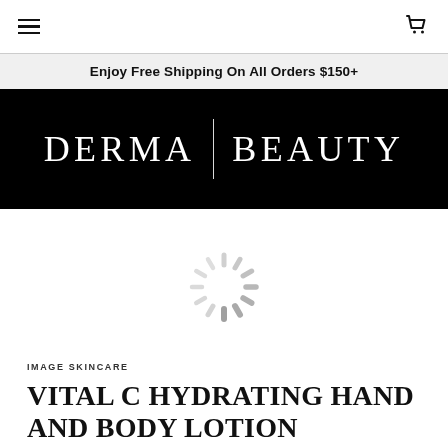Navigation bar with hamburger menu and cart icon
Enjoy Free Shipping On All Orders $150+
[Figure (logo): DERMA | BEAUTY logo in white serif text on black background]
[Figure (other): Loading spinner / throbber graphic in light grey]
IMAGE SKINCARE
VITAL C HYDRATING HAND AND BODY LOTION